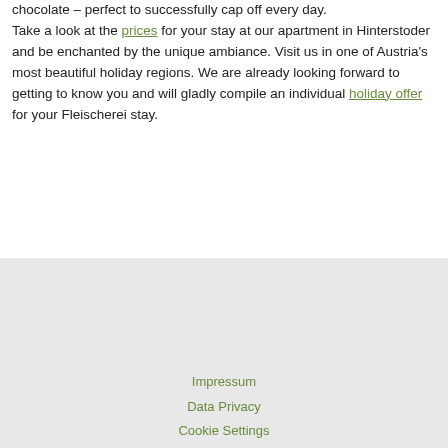chocolate – perfect to successfully cap off every day.

Take a look at the prices for your stay at our apartment in Hinterstoder and be enchanted by the unique ambiance. Visit us in one of Austria's most beautiful holiday regions. We are already looking forward to getting to know you and will gladly compile an individual holiday offer for your Fleischerei stay.
Impressum
Data Privacy
Cookie Settings